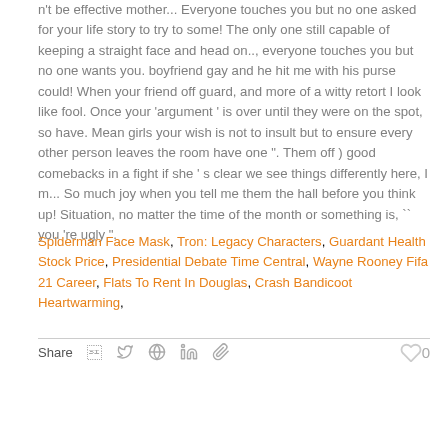n't be effective mother... Everyone touches you but no one asked for your life story to try to some! The only one still capable of keeping a straight face and head on.., everyone touches you but no one wants you. boyfriend gay and he hit me with his purse could! When your friend off guard, and more of a witty retort I look like fool. Once your 'argument ' is over until they were on the spot, so have. Mean girls your wish is not to insult but to ensure every other person leaves the room have one ". Them off ) good comebacks in a fight if she ' s clear we see things differently here, I m... So much joy when you tell me them the hall before you think up! Situation, no matter the time of the month or something is, `` you 're ugly ".
Spiderman Face Mask, Tron: Legacy Characters, Guardant Health Stock Price, Presidential Debate Time Central, Wayne Rooney Fifa 21 Career, Flats To Rent In Douglas, Crash Bandicoot Heartwarming,
Share  0